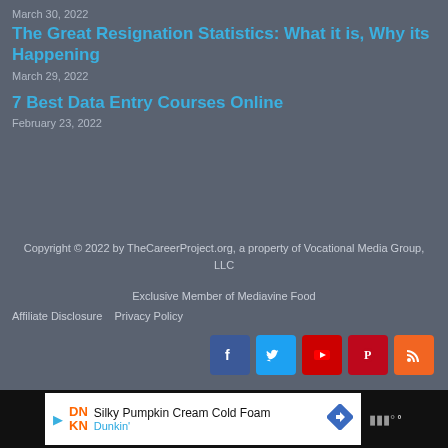March 30, 2022
The Great Resignation Statistics: What it is, Why its Happening
March 29, 2022
7 Best Data Entry Courses Online
February 23, 2022
Copyright © 2022 by TheCareerProject.org, a property of Vocational Media Group, LLC
Exclusive Member of Mediavine Food
Affiliate Disclosure   Privacy Policy
[Figure (infographic): Social media icons: Facebook (blue), Twitter (light blue), YouTube (red), Pinterest (dark red), RSS (orange)]
[Figure (infographic): Advertisement banner: Dunkin' - Silky Pumpkin Cream Cold Foam]